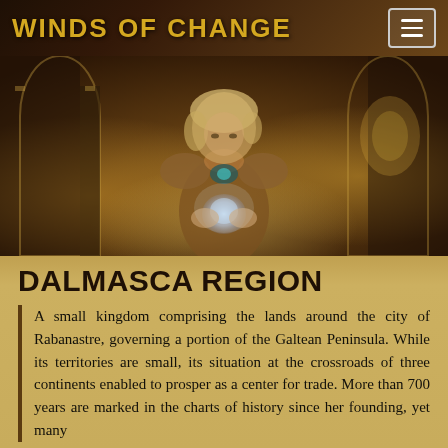WINDS OF CHANGE
[Figure (photo): Fantasy RPG character - a young blonde woman in ornate armor holding a glowing crystal orb, set in a golden cathedral-like environment]
DALMASCA REGION
A small kingdom comprising the lands around the city of Rabanastre, governing a portion of the Galtean Peninsula. While its territories are small, its situation at the crossroads of three continents enabled to prosper as a center for trade. More than 700 years are marked in the charts of history since her founding, yet many